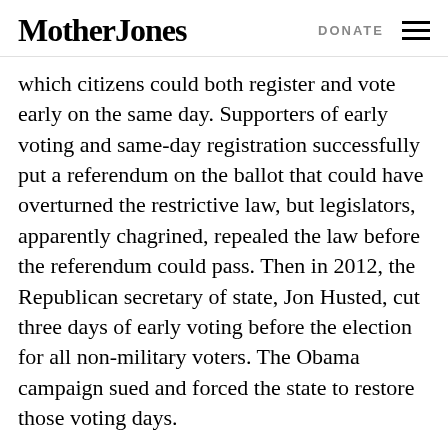Mother Jones   DONATE
which citizens could both register and vote early on the same day. Supporters of early voting and same-day registration successfully put a referendum on the ballot that could have overturned the restrictive law, but legislators, apparently chagrined, repealed the law before the referendum could pass. Then in 2012, the Republican secretary of state, Jon Husted, cut three days of early voting before the election for all non-military voters. The Obama campaign sued and forced the state to restore those voting days.
This year, the GOP-controlled state legislature again passed a bill ending the “Golden Week,” and Husted issued a rule severely restricting the early voting that remained. (This rule prevented, for